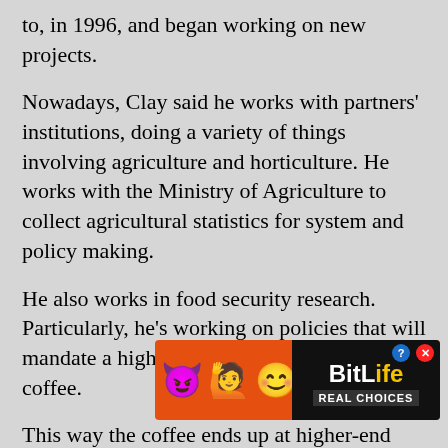to, in 1996, and began working on new projects.
Nowadays, Clay said he works with partners' institutions, doing a variety of things involving agriculture and horticulture. He works with the Ministry of Agriculture to collect agricultural statistics for system and policy making.
He also works in food security research. Particularly, he's working on policies that will mandate a higher quality of production for coffee.
This way the coffee ends up at higher-end cafes and is sold for more money, thus bringing in more revenue to Rwanda.
MSU students might have even had a taste of this brew – [advertisement overlay] arty's is actu...
[Figure (screenshot): BitLife advertisement banner with emoji characters (devil, woman, winking face) on orange background and 'BitLife Real Choices' text on black background with question mark and close buttons]